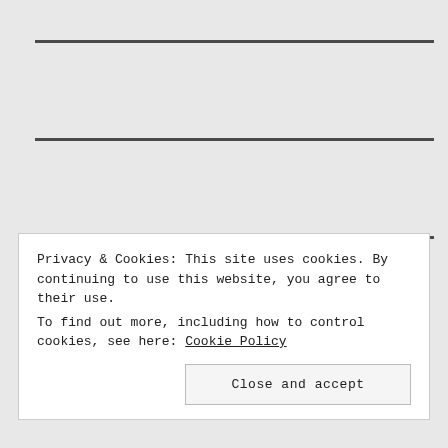Animal Friend of the Week
Images for Sale
Privacy & Cookies: This site uses cookies. By continuing to use this website, you agree to their use.
To find out more, including how to control cookies, see here: Cookie Policy
Close and accept